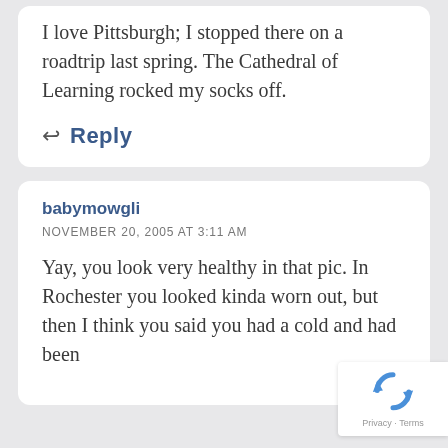I love Pittsburgh; I stopped there on a roadtrip last spring. The Cathedral of Learning rocked my socks off.
Reply
babymowgli
NOVEMBER 20, 2005 AT 3:11 AM
Yay, you look very healthy in that pic. In Rochester you looked kinda worn out, but then I think you said you had a cold and had been